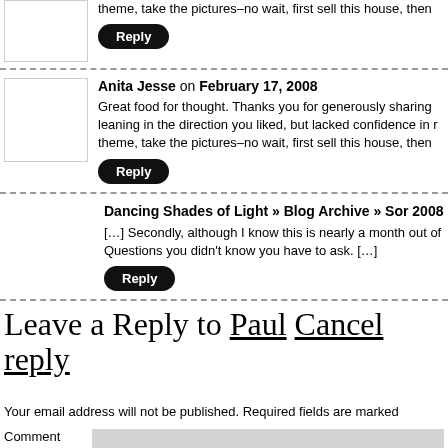theme, take the pictures–no wait, first sell this house, then
Reply
Anita Jesse on February 17, 2008
Great food for thought. Thanks you for generously sharing leaning in the direction you liked, but lacked confidence in theme, take the pictures–no wait, first sell this house, then
Reply
Dancing Shades of Light » Blog Archive » Sor 2008
[…] Secondly, although I know this is nearly a month out of Questions you didn't know you have to ask. […]
Reply
Leave a Reply to Paul Cancel reply
Your email address will not be published. Required fields are marked
Comment